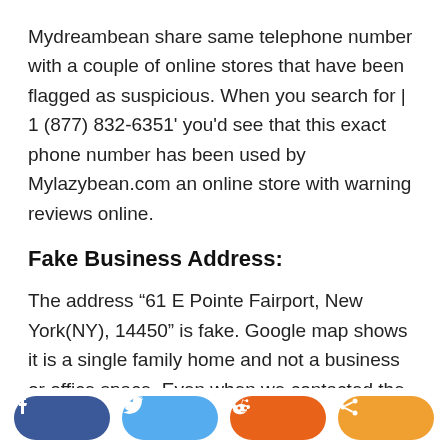Mydreambean share same telephone number with a couple of online stores that have been flagged as suspicious. When you search for | 1 (877) 832-6351' you'd see that this exact phone number has been used by Mylazybean.com an online store with warning reviews online.
Fake Business Address:
The address “61 E Pointe Fairport, New York(NY), 14450” is fake. Google map shows it is a single family home and not a business or office space. Even when we contacted the residents we were told there’s no such business within or around the premises. Hence, we can’t actually